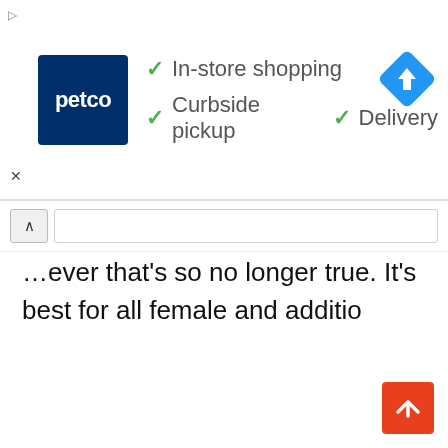[Figure (other): Petco advertisement banner showing Petco logo on dark blue background with green checkmarks listing: In-store shopping, Curbside pickup, Delivery. A blue navigation/directions diamond icon appears on the right.]
…ever that's so no longer true. It's best for all female and additio